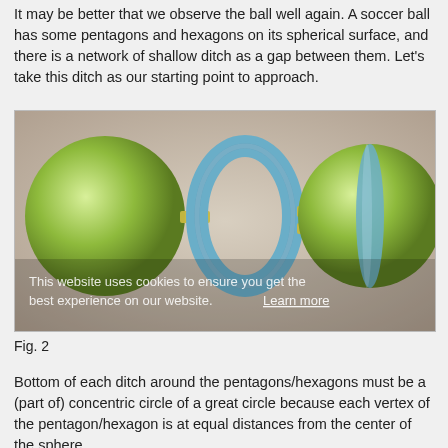It may be better that we observe the ball well again. A soccer ball has some pentagons and hexagons on its spherical surface, and there is a network of shallow ditch as a gap between them. Let's take this ditch as our starting point to approach.
[Figure (illustration): 3D illustration showing two green spheres and a blue torus ring in the middle, connected by yellow bar elements. The right sphere has a blue band/stripe running along its surface. A cookie notice overlay appears at the bottom of the image.]
Fig. 2
Bottom of each ditch around the pentagons/hexagons must be a (part of) concentric circle of a great circle because each vertex of the pentagon/hexagon is at equal distances from the center of the sphere.